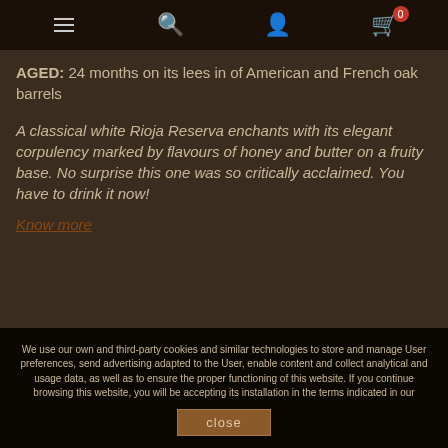Navigation bar with menu, search, account, and cart icons
AGED: 24 months on its lees in of American and French oak barrels
A classical white Rioja Reserva enchants with its elegant corpulency marked by flavours of honey and butter on a fruity base. No surprise this one was so critically acclaimed. You have to drink it now!
Know more
We use our own and third-party cookies and similar technologies to store and manage User preferences, send advertising adapted to the User, enable content and collect analytical and usage data, as well as to ensure the proper functioning of this website. If you continue browsing this website, you will be accepting its installation in the terms indicated in our
close